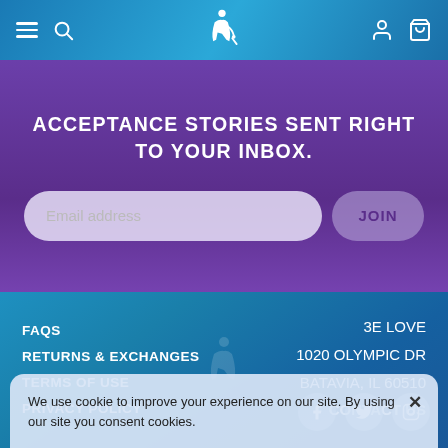Navigation header with menu, search, accessibility, account, and cart icons
ACCEPTANCE STORIES SENT RIGHT TO YOUR INBOX.
Email address [input] JOIN [button]
FAQS
RETURNS & EXCHANGES
TERMS OF USE
PRIVACY POLICY
3E LOVE
1020 OLYMPIC DR
BATAVIA, IL 60510
CONTACT US
[Figure (infographic): Social media icons: Facebook, Twitter, Instagram]
We use cookie to improve your experience on our site. By using our site you consent cookies.